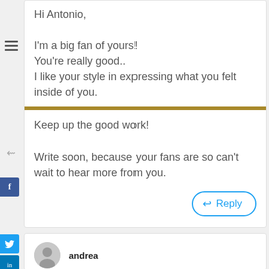Hi Antonio,

I'm a big fan of yours!
You're really good..
I like your style in expressing what you felt inside of you.
Keep up the good work!

Write soon, because your fans are so can't wait to hear more from you.
Reply
andrea